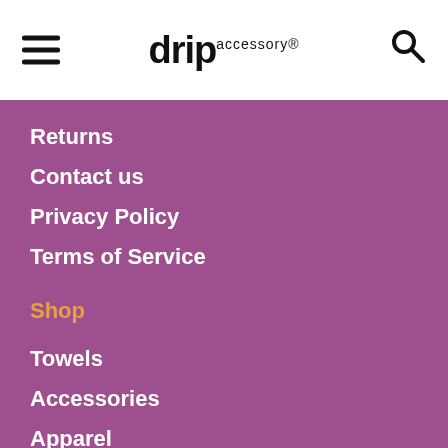[Figure (logo): drip.accessory logo with hamburger menu icon on the left and search icon on the right]
Returns
Contact us
Privacy Policy
Terms of Service
Shop
Towels
Accessories
Apparel
Gift Cards
Shop All